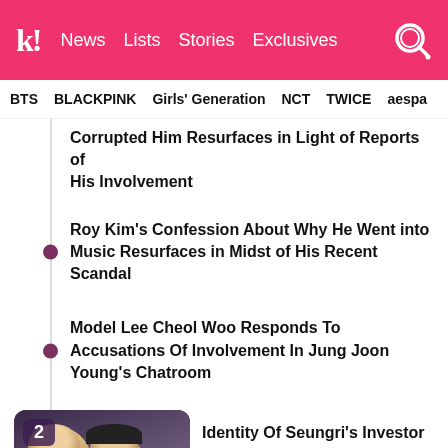k! News Lists Stories Exclusives
BTS BLACKPINK Girls' Generation NCT TWICE aespa
Corrupted Him Resurfaces in Light of Reports of His Involvement
Roy Kim's Confession About Why He Went into Music Resurfaces in Midst of His Recent Scandal
Model Lee Cheol Woo Responds To Accusations Of Involvement In Jung Joon Young's Chatroom
Identity Of Seungri's Investor Madam Lin Has Been Revealed